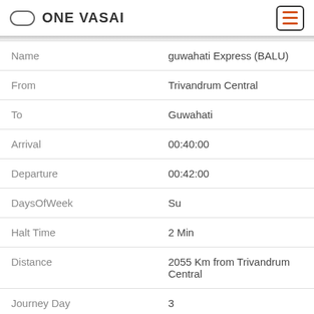ONE VASAI
| Field | Value |
| --- | --- |
| Name | guwahati Express (BALU) |
| From | Trivandrum Central |
| To | Guwahati |
| Arrival | 00:40:00 |
| Departure | 00:42:00 |
| DaysOfWeek | Su |
| Halt Time | 2 Min |
| Distance | 2055 Km from Trivandrum Central |
| Journey Day | 3 |
| No | 11019 |
| Name | konark Express (BALU) |